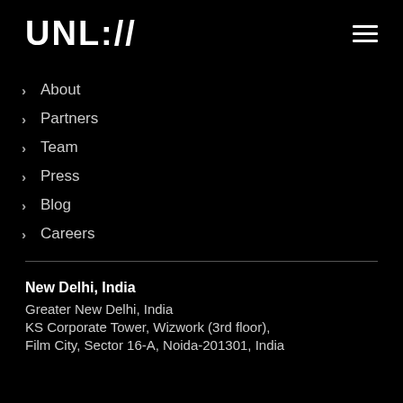UNL://
About
Partners
Team
Press
Blog
Careers
New Delhi, India
Greater New Delhi, India
KS Corporate Tower, Wizwork (3rd floor), Film City, Sector 16-A, Noida-201301, India